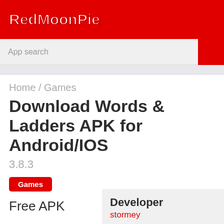RedMoonPie
App search
Home / Games
Download Words & Ladders APK for Android/IOS
3.8.3
Games
Free APK
Developer
stormey